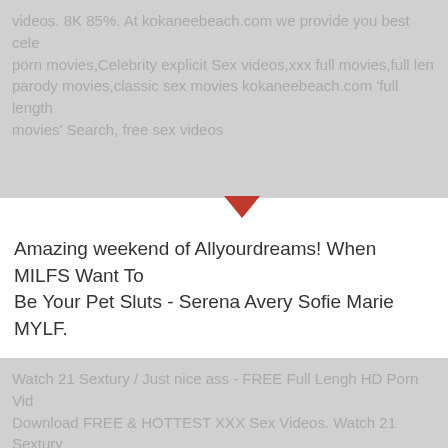videos. 8K 85%. At kokaneebeach.com we provide you best celebrity porn movies,Celebrity explicit Sex videos,xxx full movies,full length parody movies,classic sex movies kokaneebeach.com 'full length movies' Search, free sex videos
[Figure (other): Orange/red downward-pointing triangle decorative divider]
Amazing weekend of Allyourdreams! When MILFS Want To Be Your Pet Sluts - Serena Avery Sofie Marie MYLF.
Watch 21 Sextury / Just nice ass - FREE Full Lengh HD Porn Videos Download FREE & HOTTEST XXX Sex Videos. Watch 21 Sextury / Just nice ass Free Full HD Porn In Full Length on Father of Porn. My Sister / This day went better than I planned - Daisy Stone. 57 54. full length FREE videos found on XVIDEOS for this search. kokaneebeach.com ACCOUNT Join for FREE Log in Straight. Metro - Stop My Ass Is Full movie 1 h 51 min. p 1 h 51 min More Free Porn - k Views - p TIME Caught My Step-Sis Face Down-Ass Phat Ass Big Booty her thick twat with her Black Coach's big ebony dick in this all interracial fuck flick! Full Video & Nina Kayy Live @ kokaneebea 10min - p
[Figure (other): Orange/red downward-pointing triangle decorative divider]